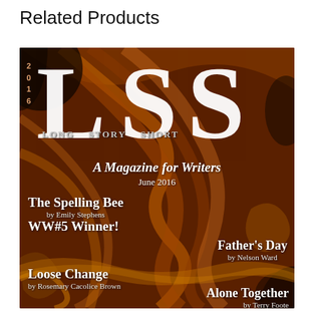Related Products
[Figure (illustration): Magazine cover of LSS (Long Story Short) - A Magazine for Writers, June 2016 issue. Dark brown and orange swirling fractal background with large white LSS letters. Features articles: The Spelling Bee by Emily Stephens WW#5 Winner!, Father's Day by Nelson Ward, Loose Change by Rosemary Cacolice Brown, Alone Together by Terry Foote.]